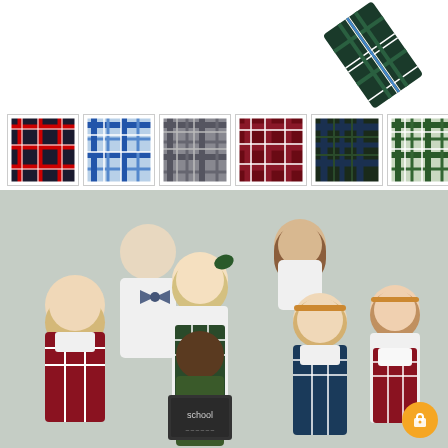[Figure (photo): A plaid necktie/bow-tie shown diagonally in the upper right corner of the page. The tie features a dark green/navy tartan plaid pattern with blue and white accents.]
[Figure (photo): Six plaid fabric swatches displayed in a horizontal row. From left to right: 1) dark navy with red plaid, 2) blue and white plaid, 3) grey plaid, 4) dark red/burgundy plaid, 5) dark green/navy plaid, 6) green and white plaid. All shown as square fabric samples with white borders.]
[Figure (photo): Group photo of seven children wearing school uniforms in plaid patterns on a light grey background. Children are smiling and dressed in white shirts/blouses with plaid jumpers, skirts, and bow ties. One child in front holds a chalkboard sign that reads 'school'.]